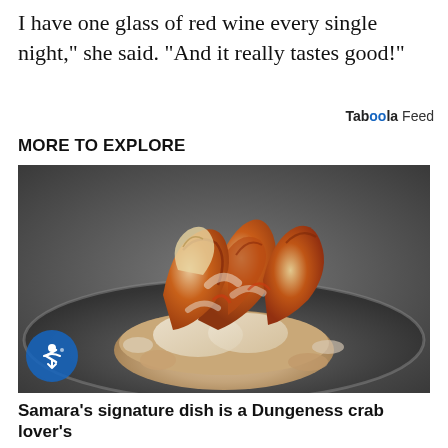I have one glass of red wine every single night," she said. "And it really tastes good!"
Taboola Feed
MORE TO EXPLORE
[Figure (photo): A close-up photograph of a Dungeness crab dish served on a plate, showing pieces of crab meat and shell arranged on top of what appears to be a potato or bread base.]
Samara's signature dish is a Dungeness crab lover's